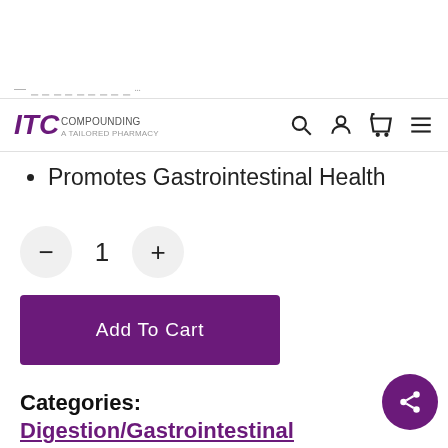ITC Compounding [navigation bar with search, account, cart, menu icons]
Promotes Gastrointestinal Health
Quantity selector: - 1 +
Add To Cart
Categories: Digestion/Gastrointestinal Function, Immune Function